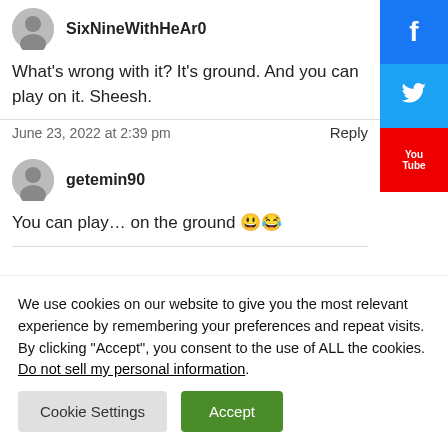SixNineWithHeAr0
What’s wrong with it? It’s ground. And you can play on it. Sheesh.
June 23, 2022 at 2:39 pm
Reply
getemin90
You can play… on the ground 😃😂
We use cookies on our website to give you the most relevant experience by remembering your preferences and repeat visits. By clicking “Accept”, you consent to the use of ALL the cookies.
Do not sell my personal information.